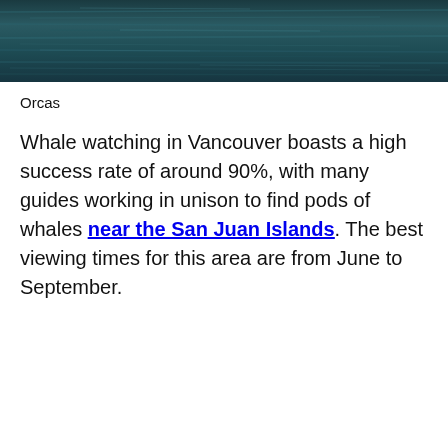[Figure (photo): Dark teal/blue-green water surface photograph used as a banner image at the top of the page]
Orcas
Whale watching in Vancouver boasts a high success rate of around 90%, with many guides working in unison to find pods of whales near the San Juan Islands. The best viewing times for this area are from June to September.